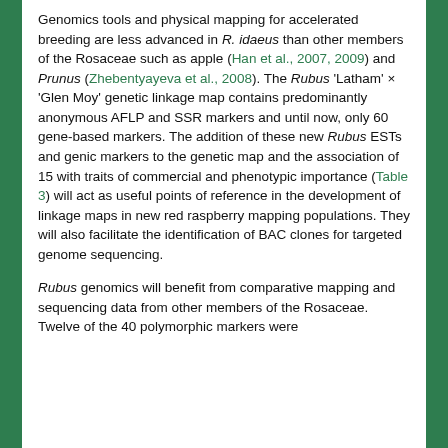Genomics tools and physical mapping for accelerated breeding are less advanced in R. idaeus than other members of the Rosaceae such as apple (Han et al., 2007, 2009) and Prunus (Zhebentyayeva et al., 2008). The Rubus 'Latham' × 'Glen Moy' genetic linkage map contains predominantly anonymous AFLP and SSR markers and until now, only 60 gene-based markers. The addition of these new Rubus ESTs and genic markers to the genetic map and the association of 15 with traits of commercial and phenotypic importance (Table 3) will act as useful points of reference in the development of linkage maps in new red raspberry mapping populations. They will also facilitate the identification of BAC clones for targeted genome sequencing.
Rubus genomics will benefit from comparative mapping and sequencing data from other members of the Rosaceae. Twelve of the 40 polymorphic markers were